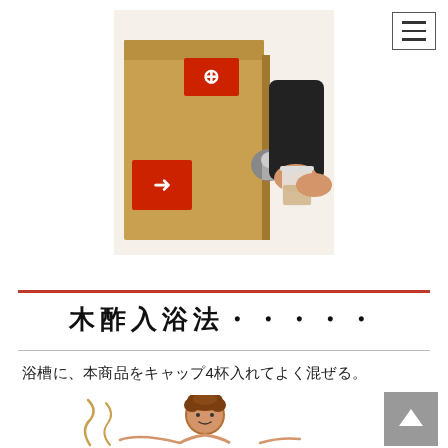[Figure (photo): A person dispensing liquid from a large cardboard box (bag-in-box container) with red labels/arrows into a small clear cup]
木酢入浴法・・・・・
浴槽に、本商品をキャップ4杯入れてよく混ぜる。
[Figure (illustration): Cartoon illustration of a person in a bathtub, partially visible from the top, with steam/decorative swirls around them]